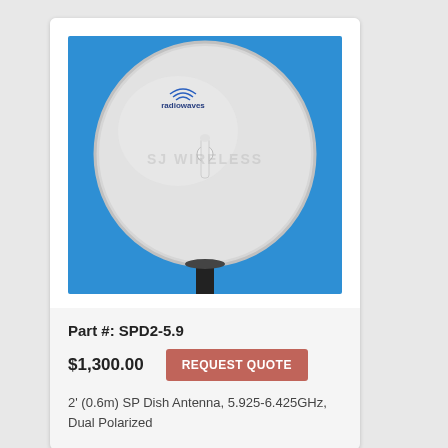[Figure (photo): Radiowaves brand white parabolic dish antenna (approximately 2 feet / 0.6m diameter) mounted on a black pole, photographed against a blue sky background. The dish has a central feed horn and the Radiowaves logo and text visible near the top.]
Part #: SPD2-5.9
$1,300.00
REQUEST QUOTE
2' (0.6m) SP Dish Antenna, 5.925-6.425GHz, Dual Polarized